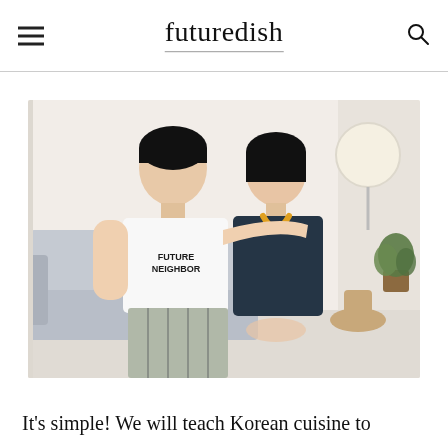futuredish
[Figure (photo): Two people, a man and a woman, sitting together on a light grey sofa. The man on the left wears a white t-shirt with 'FUTURE NEIGHBOR' text and striped pants. The woman on the right wears a dark navy dress with a yellow lanyard. Background shows a modern interior with a round lamp and a plant.]
It's simple! We will teach Korean cuisine to